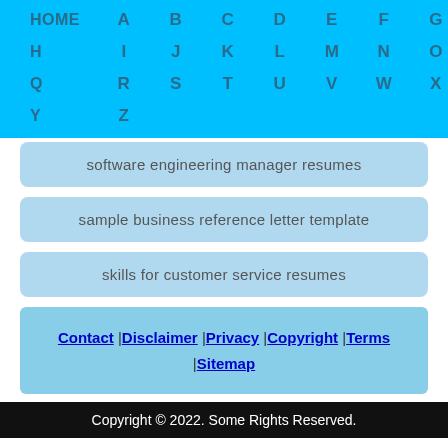HOME A B C D E F G H I J K L M N O P Q R S T U V W X Y Z
software engineering manager resumes
sample business reference letter template
skills for customer service resumes
Contact |Disclaimer |Privacy |Copyright |Terms |Sitemap
Copyright © 2022. Some Rights Reserved.